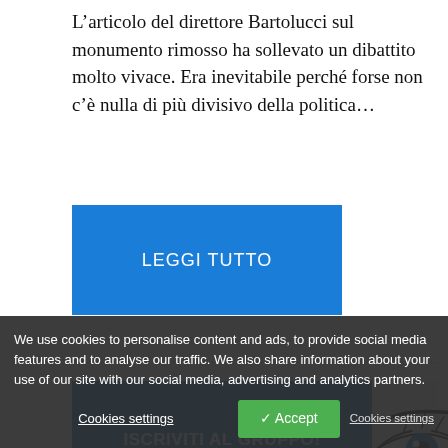L'articolo del direttore Bartolucci sul monumento rimosso ha sollevato un dibattito molto vivace. Era inevitabile perché forse non c'è nulla di più divisivo della politica…
[Figure (other): Blue button with text 'LEGGI TUTTO']
[Figure (other): Banner with blue button 'ISCRIVITI AL GRUPPO!' and stylized eye logo on the right]
We use cookies to personalise content and ads, to provide social media features and to analyse our traffic. We also share information about your use of our site with our social media, advertising and analytics partners.